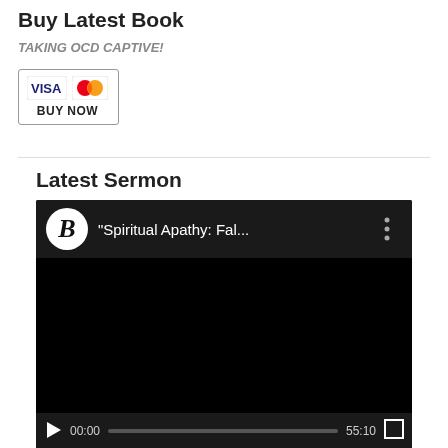Buy Latest Book
TAKING OCD CAPTIVE!
[Figure (other): PayPal Buy Now button with Visa and Mastercard logos]
Latest Sermon
[Figure (screenshot): Embedded video player showing 'Spiritual Apathy: Fal...' with a circular B logo, black video area, and controls showing 00:00 / 55:10]